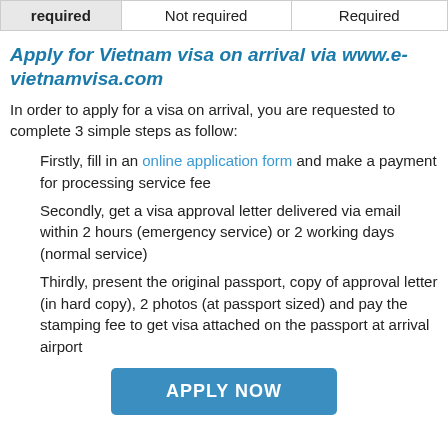| required | Not required | Required |
| --- | --- | --- |
Apply for Vietnam visa on arrival via www.e-vietnamvisa.com
In order to apply for a visa on arrival, you are requested to complete 3 simple steps as follow:
Firstly, fill in an online application form and make a payment for processing service fee
Secondly, get a visa approval letter delivered via email within 2 hours (emergency service) or 2 working days (normal service)
Thirdly, present the original passport, copy of approval letter (in hard copy), 2 photos (at passport sized) and pay the stamping fee to get visa attached on the passport at arrival airport
APPLY NOW